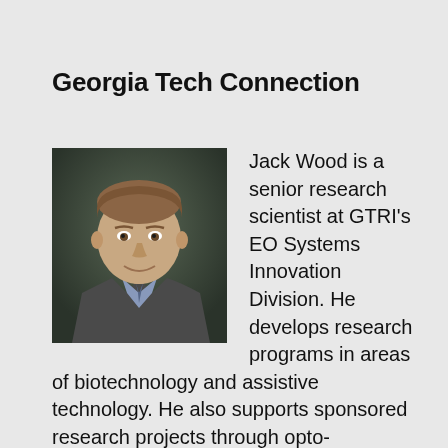Georgia Tech Connection
[Figure (photo): Headshot of Jack Wood, a man in a suit and tie with short hair, smiling, against a dark background.]
Jack Wood is a senior research scientist at GTRI's EO Systems Innovation Division. He develops research programs in areas of biotechnology and assistive technology. He also supports sponsored research projects through opto-mechanical design as well as instrument design, construction and testing. Project areas include technology for vision